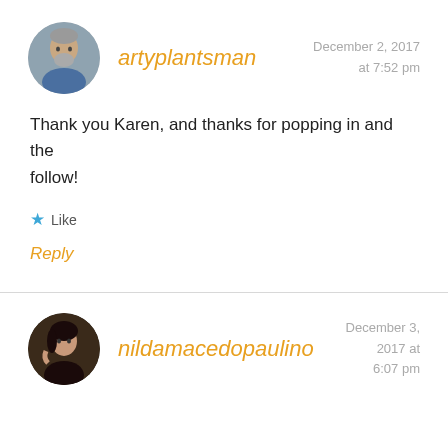[Figure (photo): Circular avatar photo of a middle-aged man with grey hair and beard]
artyplantsman
December 2, 2017 at 7:52 pm
Thank you Karen, and thanks for popping in and the follow!
Like
Reply
[Figure (photo): Circular avatar photo of a woman with dark hair]
nildamacedopaulino
December 3, 2017 at 6:07 pm